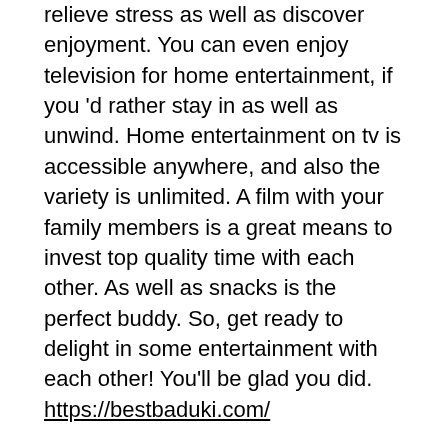relieve stress as well as discover enjoyment. You can even enjoy television for home entertainment, if you 'd rather stay in as well as unwind. Home entertainment on tv is accessible anywhere, and also the variety is unlimited. A film with your family members is a great means to invest top quality time with each other. As well as snacks is the perfect buddy. So, get ready to delight in some entertainment with each other! You'll be glad you did. https://bestbaduki.com/
An entertainment lawyer can exercise either as a private practice lawyer or as an in-house advise for a manufacturing workshop. An internal enjoyment lawyer will commonly work with one client while an exclusive attorney might have several clients. The